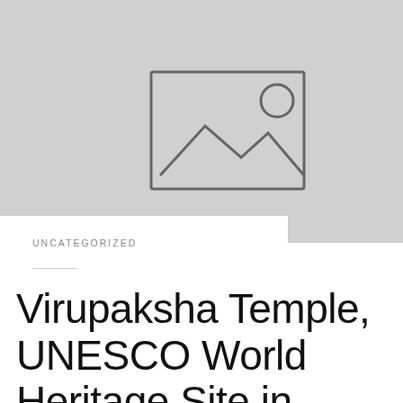[Figure (illustration): Placeholder image icon — a grey rectangle with a mountain/landscape icon and a sun circle in the upper right, rendered on a grey background]
UNCATEGORIZED
Virupaksha Temple, UNESCO World Heritage Site in Hampi, India